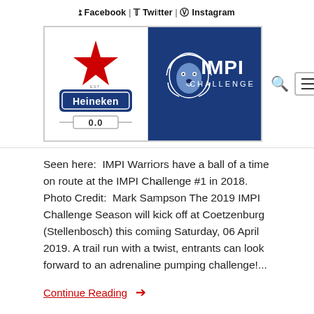f Facebook | Twitter | Instagram
[Figure (logo): Heineken 0.0 and IMPI Challenge sponsor logo banner, with search and menu navigation icons]
Seen here: IMPI Warriors have a ball of a time on route at the IMPI Challenge #1 in 2018. Photo Credit: Mark Sampson The 2019 IMPI Challenge Season will kick off at Coetzenburg (Stellenbosch) this coming Saturday, 06 April 2019. A trail run with a twist, entrants can look forward to an adrenaline pumping challenge!...
Continue Reading →